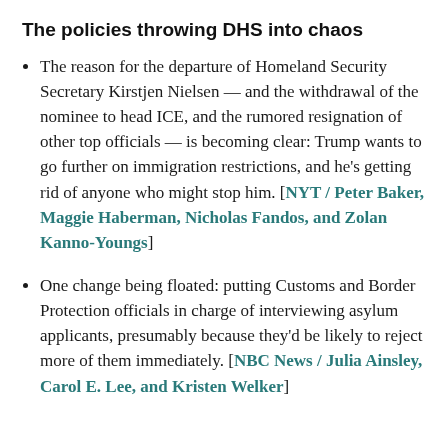The policies throwing DHS into chaos
The reason for the departure of Homeland Security Secretary Kirstjen Nielsen — and the withdrawal of the nominee to head ICE, and the rumored resignation of other top officials — is becoming clear: Trump wants to go further on immigration restrictions, and he's getting rid of anyone who might stop him. [NYT / Peter Baker, Maggie Haberman, Nicholas Fandos, and Zolan Kanno-Youngs]
One change being floated: putting Customs and Border Protection officials in charge of interviewing asylum applicants, presumably because they'd be likely to reject more of them immediately. [NBC News / Julia Ainsley, Carol E. Lee, and Kristen Welker]